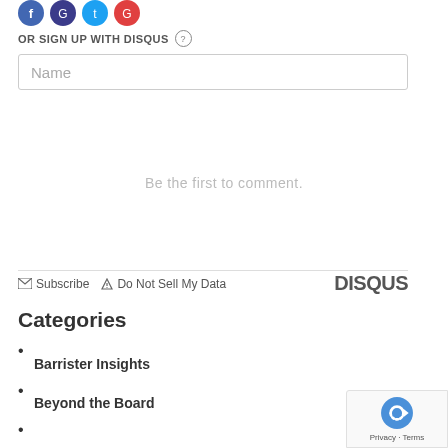[Figure (illustration): Social media icon buttons (Facebook blue, dark purple, Twitter blue, red/Google) in circular form at top]
OR SIGN UP WITH DISQUS (?)
Name
Be the first to comment.
Subscribe   Do Not Sell My Data   DISQUS
Categories
Barrister Insights
Beyond the Board
[Figure (logo): reCAPTCHA badge with Privacy and Terms text in bottom right corner]